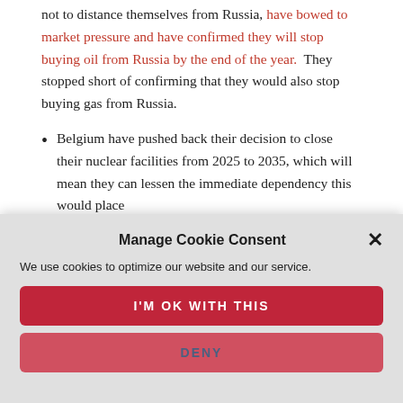not to distance themselves from Russia, have bowed to market pressure and have confirmed they will stop buying oil from Russia by the end of the year.  They stopped short of confirming that they would also stop buying gas from Russia.
Belgium have pushed back their decision to close their nuclear facilities from 2025 to 2035, which will mean they can lessen the immediate dependency this would place
Manage Cookie Consent
We use cookies to optimize our website and our service.
I'M OK WITH THIS
DENY